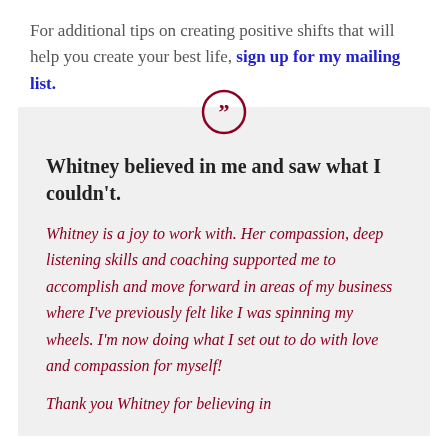For additional tips on creating positive shifts that will help you create your best life, sign up for my mailing list.
Whitney believed in me and saw what I couldn't. Whitney is a joy to work with. Her compassion, deep listening skills and coaching supported me to accomplish and move forward in areas of my business where I've previously felt like I was spinning my wheels. I'm now doing what I set out to do with love and compassion for myself! Thank you Whitney for believing in